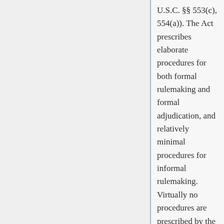U.S.C. §§ 553(c), 554(a)). The Act prescribes elaborate procedures for both formal rulemaking and formal adjudication, and relatively minimal procedures for informal rulemaking. Virtually no procedures are prescribed by the APA for the remaining category of informal